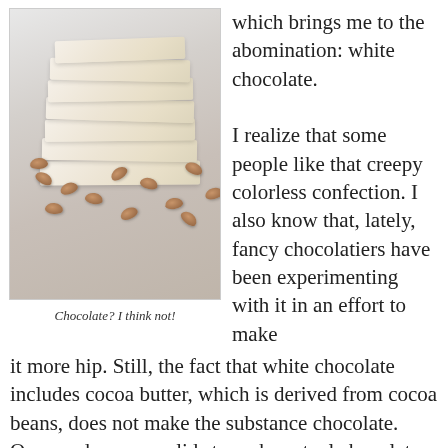[Figure (photo): A stack of white chocolate bars with almonds/hazelnuts scattered around the base, on a light grey surface]
Chocolate? I think not!
which brings me to the abomination: white chocolate.

I realize that some people like that creepy colorless confection. I also know that, lately, fancy chocolatiers have been experimenting with it in an effort to make it more hip. Still, the fact that white chocolate includes cocoa butter, which is derived from cocoa beans, does not make the substance chocolate. One needs cocoa solids to make actual chocolate. (Yes, I know the FDA claims white chocolate meets their standards in